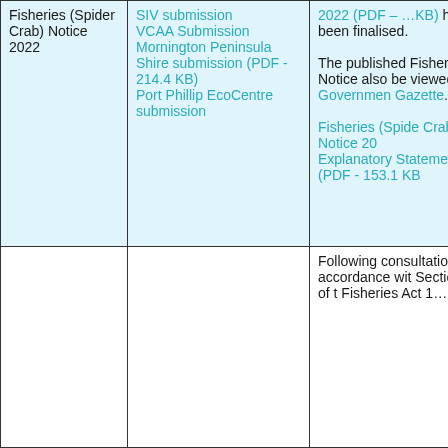| Column 1 | Column 2 | Column 3 |
| --- | --- | --- |
| Fisheries (Spider Crab) Notice 2022 | SIV submission VCAA Submission Mornington Peninsula Shire submission (PDF - 214.4 KB) Port Phillip EcoCentre submission | 2022 (PDF - [KB]) has been finalised. The published Fisheries Notice also be viewed the Government Gazette. Fisheries (Spider Crab) Notice 20 Explanatory Statement (PDF - 153.1 KB) |
|  |  | Following consultation in accordance with Section 3A of the Fisheries Act 1... |